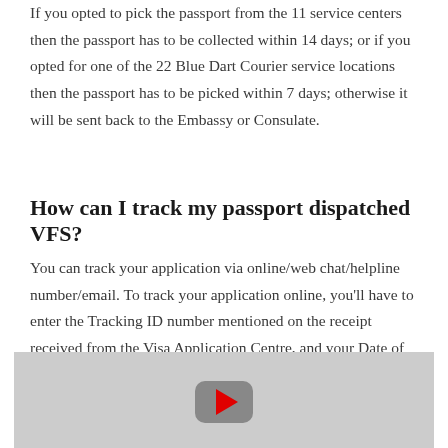If you opted to pick the passport from the 11 service centers then the passport has to be collected within 14 days; or if you opted for one of the 22 Blue Dart Courier service locations then the passport has to be picked within 7 days; otherwise it will be sent back to the Embassy or Consulate.
How can I track my passport dispatched VFS?
You can track your application via online/web chat/helpline number/email. To track your application online, you'll have to enter the Tracking ID number mentioned on the receipt received from the Visa Application Centre, and your Date of Birth.
[Figure (other): YouTube video thumbnail placeholder showing a grey background with a grey rounded rectangle YouTube play button icon containing a red play triangle]